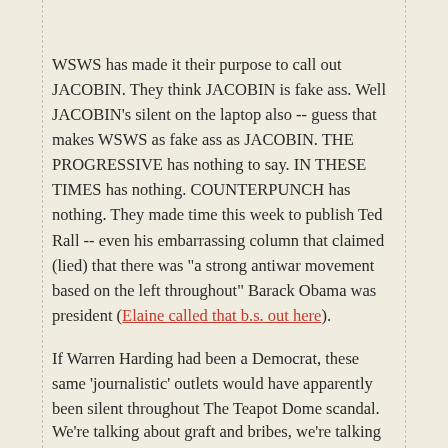WSWS has made it their purpose to call out JACOBIN.  They think JACOBIN is fake ass.  Well JACOBIN's silent on the laptop also -- guess that makes WSWS as fake ass as JACOBIN.  THE PROGRESSIVE has nothing to say.  IN THESE TIMES has nothing.  COUNTERPUNCH has nothing.  They made time this week to publish Ted Rall -- even his embarrassing column that claimed (lied) that there was "a strong antiwar movement based on the left throughout" Barack Obama was president (Elaine called that b.s. out here).
If Warren Harding had been a Democrat, these same 'journalistic' outlets would have apparently been silent throughout The Teapot Dome scandal.
We're talking about graft and bribes, we're talking